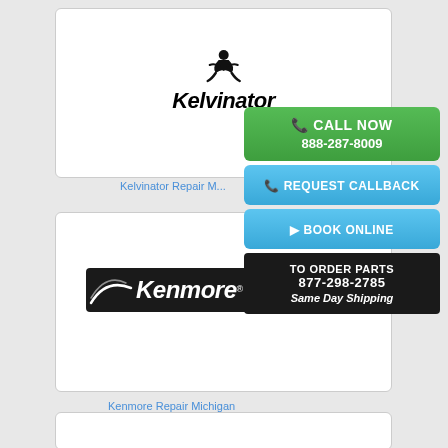[Figure (logo): Kelvinator brand logo with stylized figure icon above italic bold text]
Kelvinator Repair M...
[Figure (logo): Kenmore brand logo in white italic text on black badge with swoosh]
Kenmore Repair Michigan
[Figure (infographic): Overlay call-to-action buttons: CALL NOW 888-287-8009 (green), REQUEST CALLBACK (blue), BOOK ONLINE (blue), TO ORDER PARTS 877-298-2785 Same Day Shipping (black)]